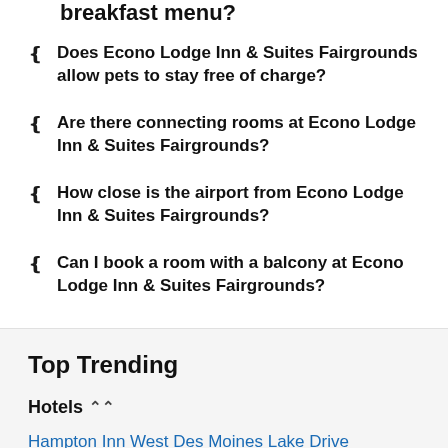breakfast menu?
Does Econo Lodge Inn & Suites Fairgrounds allow pets to stay free of charge?
Are there connecting rooms at Econo Lodge Inn & Suites Fairgrounds?
How close is the airport from Econo Lodge Inn & Suites Fairgrounds?
Can I book a room with a balcony at Econo Lodge Inn & Suites Fairgrounds?
Top Trending
Hotels ⇑
Hampton Inn West Des Moines Lake Drive